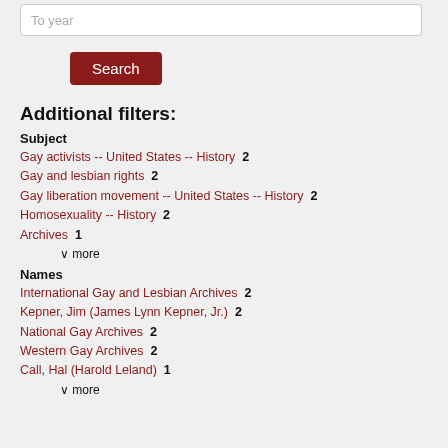To year
Search
Additional filters:
Subject
Gay activists -- United States -- History  2
Gay and lesbian rights  2
Gay liberation movement -- United States -- History  2
Homosexuality -- History  2
Archives  1
∨ more
Names
International Gay and Lesbian Archives  2
Kepner, Jim (James Lynn Kepner, Jr.)  2
National Gay Archives  2
Western Gay Archives  2
Call, Hal (Harold Leland)  1
∨ more